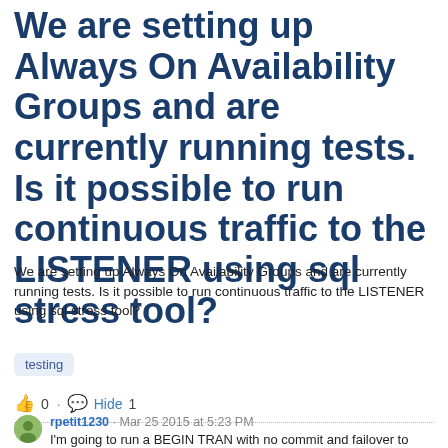We are setting up Always On Availability Groups and are currently running tests. Is it possible to run continuous traffic to the LISTENER using sql stress tool?
We are setting up Always On Availability Groups and are currently running tests. Is it possible to run continuous traffic to the LISTENER using sql stress tool?
testing
0 · Hide 1
rpetit1230 · Mar 25 2015 at 5:23 PM
I'm going to run a BEGIN TRAN with no commit and failover to replicas